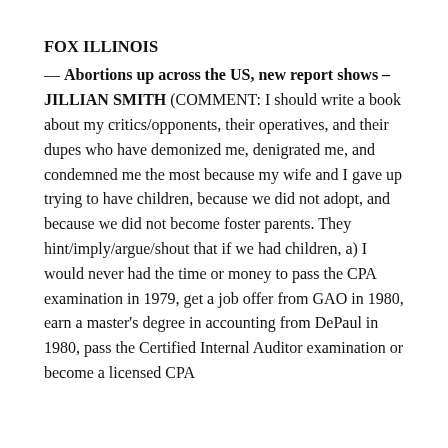FOX ILLINOIS
— Abortions up across the US, new report shows – JILLIAN SMITH (COMMENT: I should write a book about my critics/opponents, their operatives, and their dupes who have demonized me, denigrated me, and condemned me the most because my wife and I gave up trying to have children, because we did not adopt, and because we did not become foster parents. They hint/imply/argue/shout that if we had children, a) I would never had the time or money to pass the CPA examination in 1979, get a job offer from GAO in 1980, earn a master's degree in accounting from DePaul in 1980, pass the Certified Internal Auditor examination or become a licensed CPA